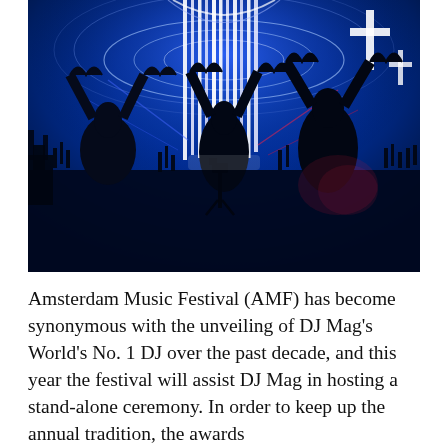[Figure (photo): Concert/festival photo showing silhouettes of crowd members making heart shapes with their hands against a vivid blue-lit stage backdrop with tall vertical light structures and circular light patterns. A cross-shaped light is visible in the upper right.]
Amsterdam Music Festival (AMF) has become synonymous with the unveiling of DJ Mag's World's No. 1 DJ over the past decade, and this year the festival will assist DJ Mag in hosting a stand-alone ceremony. In order to keep up the annual tradition, the awards